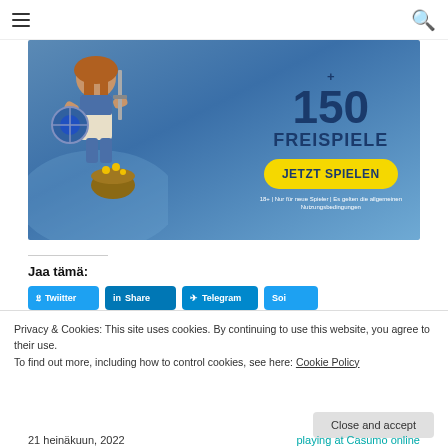≡  🔍
[Figure (illustration): Casino promotional banner showing a Viking female warrior character with sword and shield on blue mountain background with text '+150 FREISPIELE' and yellow 'JETZT SPIELEN' button. Disclaimer: '18+ | Nur für neue Spieler | Es gelten die allgemeinen Nutzungsbedingungen']
Jaa tämä:
Twitter | Share | Telegram | Soi
Privacy & Cookies: This site uses cookies. By continuing to use this website, you agree to their use.
To find out more, including how to control cookies, see here: Cookie Policy
Close and accept
21 heinäkuun, 2022
playing at Casumo online